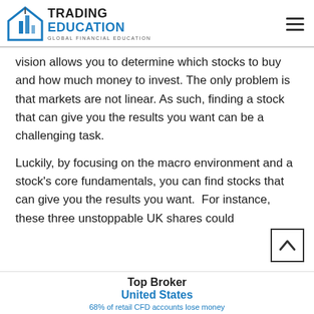TRADING EDUCATION — GLOBAL FINANCIAL EDUCATION
vision allows you to determine which stocks to buy and how much money to invest. The only problem is that markets are not linear. As such, finding a stock that can give you the results you want can be a challenging task.
Luckily, by focusing on the macro environment and a stock's core fundamentals, you can find stocks that can give you the results you want.  For instance, these three unstoppable UK shares could
Top Broker
United States
68% of retail CFD accounts lose money